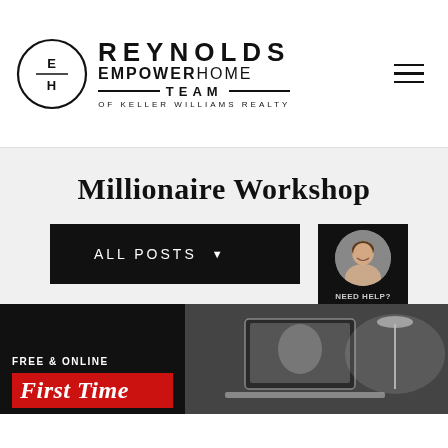[Figure (logo): Reynolds EmpowerHome Team of Keller Williams Realty logo with EH circle emblem and hamburger menu icon]
Millionaire Workshop
[Figure (screenshot): All Posts dropdown button in black, with partial chat widget on right showing agent photo and NEED HELP? CLICK TO LIVE CHAT text]
[Figure (photo): Bottom card section: FREE & ONLINE label, First Time text on red banner, with photo of laptop/computer screen]